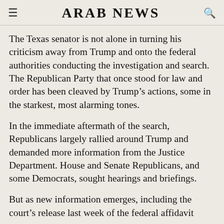ARAB NEWS
The Texas senator is not alone in turning his criticism away from Trump and onto the federal authorities conducting the investigation and search. The Republican Party that once stood for law and order has been cleaved by Trump’s actions, some in the starkest, most alarming tones.
In the immediate aftermath of the search, Republicans largely rallied around Trump and demanded more information from the Justice Department. House and Senate Republicans, and some Democrats, sought hearings and briefings.
But as new information emerges, including the court’s release last week of the federal affidavit